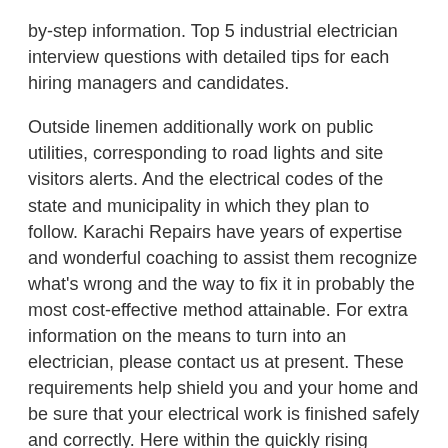by-step information. Top 5 industrial electrician interview questions with detailed tips for each hiring managers and candidates.
Outside linemen additionally work on public utilities, corresponding to road lights and site visitors alerts. And the electrical codes of the state and municipality in which they plan to follow. Karachi Repairs have years of expertise and wonderful coaching to assist them recognize what's wrong and the way to fix it in probably the most cost-effective method attainable. For extra information on the means to turn into an electrician, please contact us at present. These requirements help shield you and your home and be sure that your electrical work is finished safely and correctly. Here within the quickly rising Lowcountry, electricians are always in demand.
The main cause for these fires embrace defective wiring, inexperienced electricians in Karachi, or improper installation